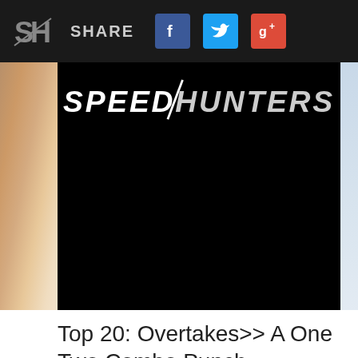SHARE
[Figure (screenshot): Speedhunters logo on black background]
Top 20: Overtakes>> A One Two Combo Punch
July 22, 2011 - TheSpeedhunters
formula 1 , Nelson Piquet , nigel mansel , Top 20 , top 20 overtakes , Williams